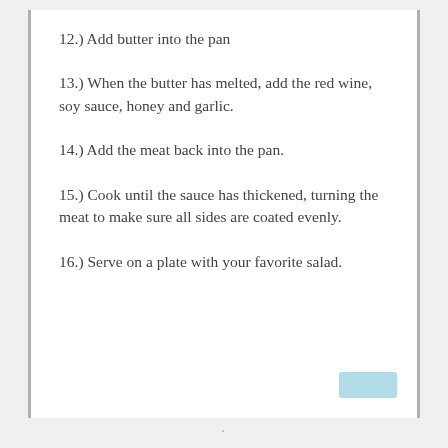12.) Add butter into the pan
13.) When the butter has melted, add the red wine, soy sauce, honey and garlic.
14.) Add the meat back into the pan.
15.) Cook until the sauce has thickened, turning the meat to make sure all sides are coated evenly.
16.) Serve on a plate with your favorite salad.